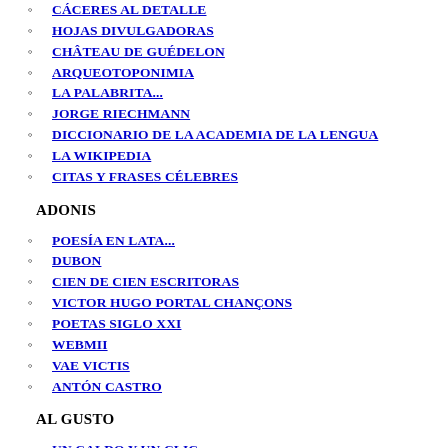CÁCERES AL DETALLE
HOJAS DIVULGADORAS
CHÂTEAU DE GUÉDELON
ARQUEOTOPONIMIA
LA PALABRITA...
JORGE RIECHMANN
DICCIONARIO DE LA ACADEMIA DE LA LENGUA
LA WIKIPEDIA
CITAS Y FRASES CÉLEBRES
ADONIS
POESÍA EN LATA...
DUBON
CIEN DE CIEN ESCRITORAS
VICTOR HUGO PORTAL CHANÇONS
POETAS SIGLO XXI
WEBMII
VAE VICTIS
ANTÓN CASTRO
AL GUSTO
UN CALDO Y UN CLIC